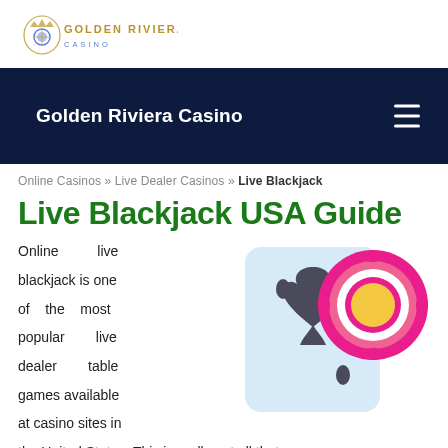[Figure (logo): Golden Riviera Casino logo with crown and shield emblem]
Golden Riviera Casino
Online Casinos » Live Dealer Casinos » Live Blackjack
Live Blackjack USA Guide
[Figure (illustration): Playing card with spade symbol and casino chip illustration]
Online live blackjack is one of the most popular live dealer table games available at casino sites in the United States. This is really not all that surprising as the famous card game is one